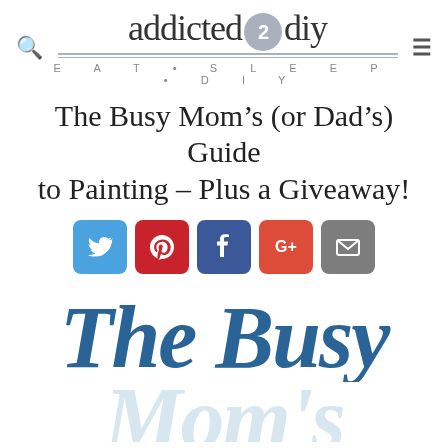addicted 2 diy — EAT • SLEEP • DIY
The Busy Mom's (or Dad's) Guide to Painting – Plus a Giveaway!
[Figure (infographic): Social share buttons: Twitter (blue), Pinterest (red), Facebook (dark blue), Google+ (red-orange), Email (gray)]
[Figure (illustration): Large decorative script text reading 'The Busy Mom's' in dark blue italic lettering, partially visible]